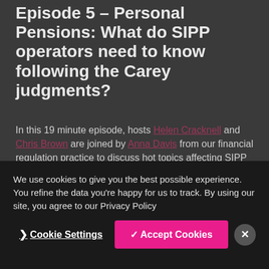Episode 5 – Personal Pensions: What do SIPP operators need to know following the Carey judgments?
In this 19 minute episode, hosts Helen Cracknell and Chris Brown are joined by Anna Davis from our financial regulation practice to discuss hot topics affecting SIPP operators.
We cover a brief history of regulation in this area, the Carey judgments and key current takeaways for SIPP operators.
We use cookies to give you the best possible experience. You refine the data you're happy for us to track. By using our site, you agree to our Privacy Policy